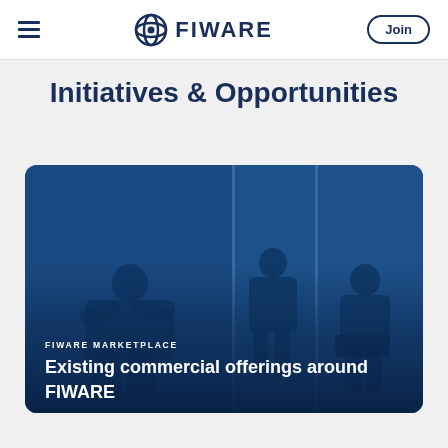FIWARE — Join
Initiatives & Opportunities
[Figure (photo): Blue-tinted photo card showing people sitting in a waiting area or lobby, split into three panels by vertical dividers, with a dark blue overlay. Card labeled FIWARE MARKETPLACE with title 'Existing commercial offerings around FIWARE']